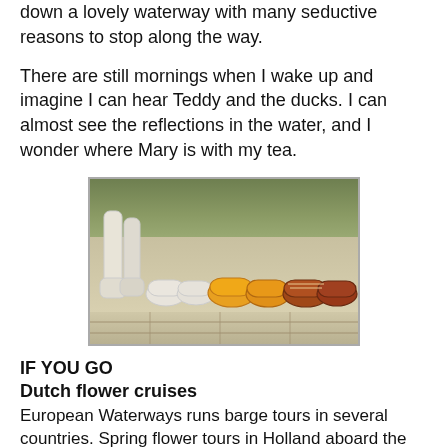down a lovely waterway with many seductive reasons to stop along the way.
There are still mornings when I wake up and imagine I can hear Teddy and the ducks. I can almost see the reflections in the water, and I wonder where Mary is with my tea.
[Figure (photo): Photo of several pairs of Dutch wooden clogs (klompen) arranged by size on a wooden surface, ranging from tall white boots on the left to small white clogs, yellow clogs, and brown/orange clogs on the right. Green foliage visible in background.]
IF YOU GO
Dutch flower cruises
European Waterways runs barge tours in several countries. Spring flower tours in Holland aboard the 12-passenger Panache, above, will include trips to Floriade. Prices start at $4,690 a person and include all meals, wines, excursions and local transfers. 877-879-8808; gobarging.com
The Barge Company runs the Magna Carta, an eight-